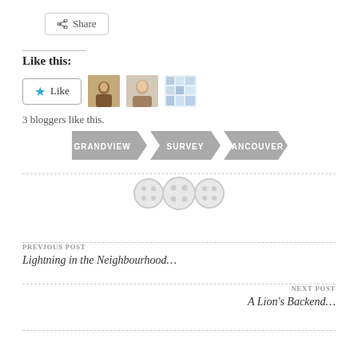[Figure (other): Share button with share icon]
Like this:
[Figure (other): Like button with blue star, followed by three blogger avatar thumbnails]
3 bloggers like this.
[Figure (other): Three arrow-shaped tags reading GRANDVIEW, SURVEY, VANCOUVER]
[Figure (other): Three decorative button/circle icons as a divider]
PREVIOUS POST
Lightning in the Neighbourhood...
NEXT POST
A Lion's Backend...